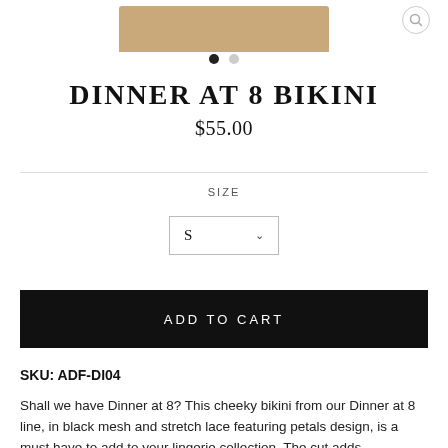[Figure (photo): Top portion of a product photo showing a beige/tan colored bikini bottom, cropped at top edge of page]
DINNER AT 8 BIKINI
$55.00
SIZE
S
ADD TO CART
SKU: ADF-DI04
Shall we have Dinner at 8? This cheeky bikini from our Dinner at 8 line, in black mesh and stretch lace featuring petals design, is a must have to add to your lingerie collection. The cut adds